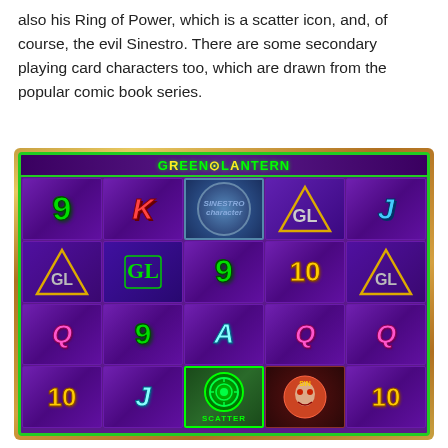also his Ring of Power, which is a scatter icon, and, of course, the evil Sinestro. There are some secondary playing card characters too, which are drawn from the popular comic book series.
[Figure (screenshot): Green Lantern slot machine game screenshot showing a 5x4 grid of symbols including playing card characters (9, 10, J, Q, K, A), character symbols in triangles, a circular character symbol, a scatter ring symbol, and a Sinestro symbol, on a purple background with green border.]